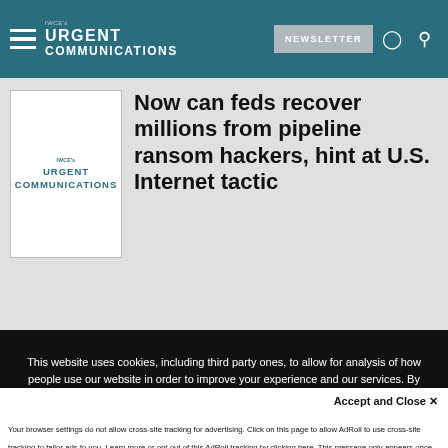IWCE's Urgent Communications — NEWSLETTER
[Figure (logo): IWCE's Urgent Communications logo thumbnail]
Now can feds recover millions from pipeline ransom hackers, hint at U.S. Internet tactic
This website uses cookies, including third party ones, to allow for analysis of how people use our website in order to improve your experience and our services. By continuing to use our website, you agree to the use of such cookies. Click here for more information on our Cookie Policy and Privacy Policy
Accept and Close ✕
Your browser settings do not allow cross-site tracking for advertising. Click on this page to allow AdRoll to use cross-site tracking to tailor ads to you. Learn more or opt out of this AdRoll tracking by clicking here. This message only appears once.